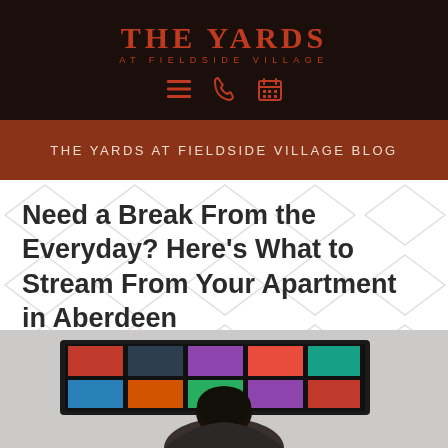THE YARDS AT FIELDSIDE VILLAGE
THE YARDS AT FIELDSIDE VILLAGE BLOG
Need a Break From the Everyday? Here's What to Stream From Your Apartment in Aberdeen
[Figure (photo): Person viewed from behind sitting in front of a large TV/monitor displaying a streaming content grid]